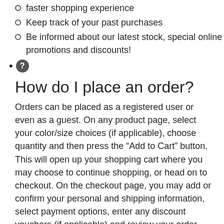faster shopping experience
Keep track of your past purchases
Be informed about our latest stock, special online promotions and discounts!
❓
How do I place an order?
Orders can be placed as a registered user or even as a guest. On any product page, select your color/size choices (if applicable), choose quantity and then press the “Add to Cart” button. This will open up your shopping cart where you may choose to continue shopping, or head on to checkout. On the checkout page, you may add or confirm your personal and shipping information, select payment options, enter any discount vouchers (if applicable) and review your order before selecting “Place order now”.
❓
How do I know if entertainer.pk has received my order?